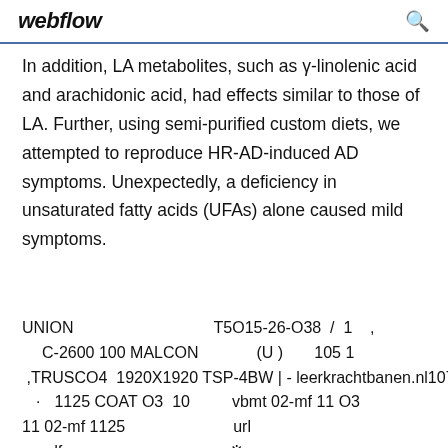webflow [search icon]
In addition, LA metabolites, such as γ-linolenic acid and arachidonic acid, had effects similar to those of LA. Further, using semi-purified custom diets, we attempted to reproduce HR-AD-induced AD symptoms. Unexpectedly, a deficiency in unsaturated fatty acids (UFAs) alone caused mild symptoms.
UNION                    T5O15-26-O38  /  1   ,
    C-2600 100 MALCON         (U )       105 1
 ,TRUSCO                  4  1920X1920 TSP-4BW | - leerkrachtbanen.nl                  107
    ·    1125 COAT O3  10      vbmt 02-mf 11 O3
11 02-mf 1125                url
    pdf                          ※